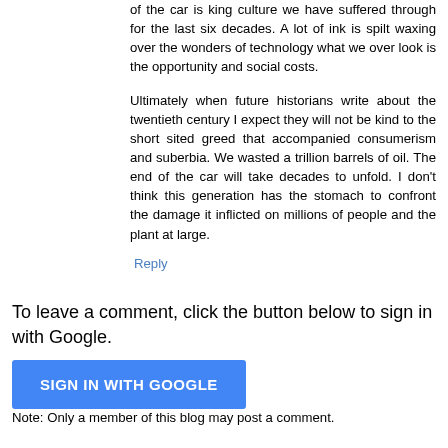of the car is king culture we have suffered through for the last six decades. A lot of ink is spilt waxing over the wonders of technology what we over look is the opportunity and social costs.
Ultimately when future historians write about the twentieth century I expect they will not be kind to the short sited greed that accompanied consumerism and suberbia. We wasted a trillion barrels of oil. The end of the car will take decades to unfold. I don't think this generation has the stomach to confront the damage it inflicted on millions of people and the plant at large.
Reply
To leave a comment, click the button below to sign in with Google.
SIGN IN WITH GOOGLE
Note: Only a member of this blog may post a comment.